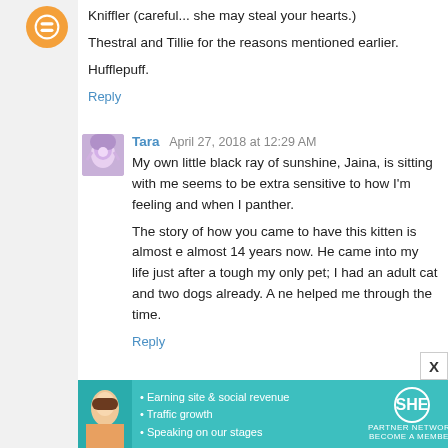Kniffler (careful... she may steal your hearts.)
Thestral and Tillie for the reasons mentioned earlier.
Hufflepuff.
Reply
Tara  April 27, 2018 at 12:29 AM
My own little black ray of sunshine, Jaina, is sitting with me seems to be extra sensitive to how I'm feeling and when I panther.
The story of how you came to have this kitten is almost e almost 14 years now. He came into my life just after a tough my only pet; I had an adult cat and two dogs already. A ne helped me through the time.
Reply
Barb Ess  April 27, 2018 at 12:31 AM
What about Zen? Since she is teaching you to simply
[Figure (screenshot): SHE Partner Network advertisement banner with teal background, woman photo, bullet points about earning site & social revenue, traffic growth, speaking on stages, SHE logo, and Learn More button]